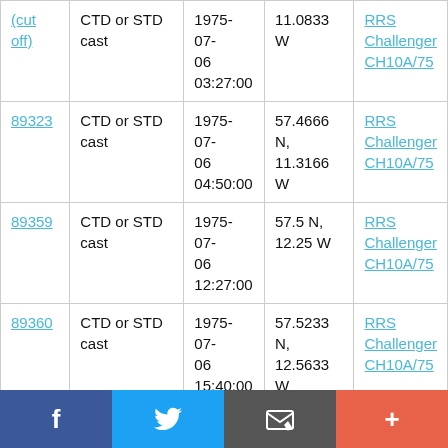| ID | Type | Date/Time | Coordinates | Ship |
| --- | --- | --- | --- | --- |
| (cut off) | CTD or STD cast | 1975-07-06 03:27:00 | 11.0833 W | RRS Challenger CH10A/75 |
| 89323 | CTD or STD cast | 1975-07-06 04:50:00 | 57.4666 N, 11.3166 W | RRS Challenger CH10A/75 |
| 89359 | CTD or STD cast | 1975-07-06 12:27:00 | 57.5 N, 12.25 W | RRS Challenger CH10A/75 |
| 89360 | CTD or STD cast | 1975-07-06 15:40:00 | 57.5233 N, 12.5633 W | RRS Challenger CH10A/75 |
| 89384 | CTD or STD cast | 1975-07-... | 57.5566 | RRS |
[Figure (other): Social sharing toolbar with Facebook, Twitter, Email, and More (+) buttons]